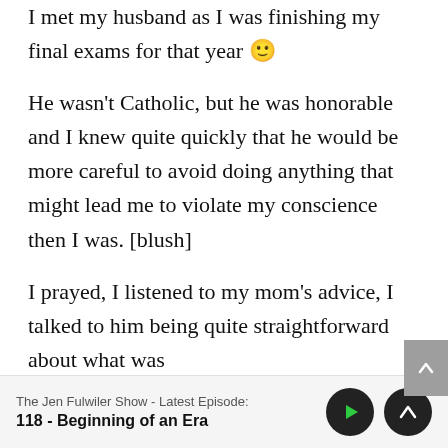I met my husband as I was finishing my final exams for that year 🙂
He wasn't Catholic, but he was honorable and I knew quite quickly that he would be more careful to avoid doing anything that might lead me to violate my conscience then I was. [blush]
I prayed, I listened to my mom's advice, I talked to him being quite straightforward about what was
The Jen Fulwiler Show - Latest Episode:
118 - Beginning of an Era